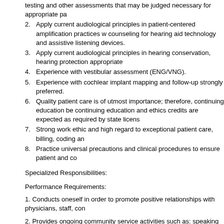testing and other assessments that may be judged necessary for appropriate pa
2. Apply current audiological principles in patient-centered amplification practices w counseling for hearing aid technology and assistive listening devices.
3. Apply current audiological principles in hearing conservation, hearing protection appropriate
4. Experience with vestibular assessment (ENG/VNG).
5. Experience with cochlear implant mapping and follow-up strongly preferred.
6. Quality patient care is of utmost importance; therefore, continuing education be continuing education and ethics credits are expected as required by state licens
7. Strong work ethic and high regard to exceptional patient care, billing, coding an
8. Practice universal precautions and clinical procedures to ensure patient and co
Specialized Responsibilities:
Performance Requirements:
1. Conducts oneself in order to promote positive relationships with physicians, staff, con
2. Provides ongoing community service activities such as: speaking engagements, advo service/support groups and/or LeadWell activities.
3. Responsible for adhering to product pricing (hearing aids, assistive listening devices, and ordering as needed.
4. Follows clinic policies related to provider work standards, timely documentation of pat
6. Responsible for providing professional supervision of graduate Audiology students in
7. Responsible for attending department meetings and providing input regarding the au
Education/Experience/Certifications: